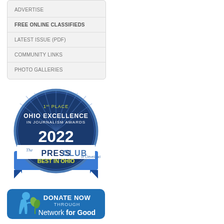ADVERTISE
FREE ONLINE CLASSIFIEDS
LATEST ISSUE (PDF)
COMMUNITY LINKS
PHOTO GALLERIES
[Figure (logo): 1st Place Ohio Excellence in Journalism Awards 2022 - The Press Club of Cleveland - Best in Ohio badge/seal]
[Figure (logo): Donate Now Through Network for Good button]